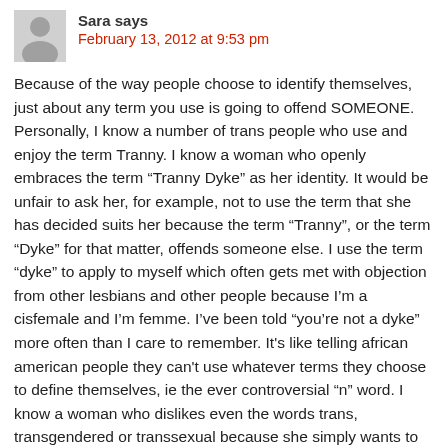February 13, 2012 at 9:53 pm
Because of the way people choose to identify themselves, just about any term you use is going to offend SOMEONE. Personally, I know a number of trans people who use and enjoy the term Tranny. I know a woman who openly embraces the term “Tranny Dyke” as her identity. It would be unfair to ask her, for example, not to use the term that she has decided suits her because the term “Tranny”, or the term “Dyke” for that matter, offends someone else. I use the term “dyke” to apply to myself which often gets met with objection from other lesbians and other people because I’m a cisfemale and I’m femme. I’ve been told “you’re not a dyke” more often than I care to remember. It's like telling african american people they can't use whatever terms they choose to define themselves, ie the ever controversial “n” word. I know a woman who dislikes even the words trans, transgendered or transsexual because she simply wants to be known as a woman, not a trans woman. She calls herself a woman and says she